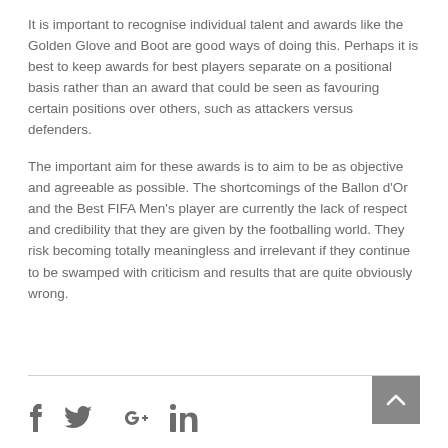It is important to recognise individual talent and awards like the Golden Glove and Boot are good ways of doing this. Perhaps it is best to keep awards for best players separate on a positional basis rather than an award that could be seen as favouring certain positions over others, such as attackers versus defenders.
The important aim for these awards is to aim to be as objective and agreeable as possible. The shortcomings of the Ballon d'Or and the Best FIFA Men's player are currently the lack of respect and credibility that they are given by the footballing world. They risk becoming totally meaningless and irrelevant if they continue to be swamped with criticism and results that are quite obviously wrong.
social icons: facebook, twitter, google+, linkedin